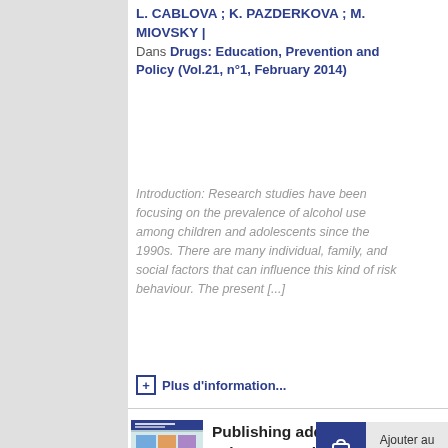L. CABLOVA ; K. PAZDERKOVA ; M. MIOVSKY | Dans Drugs: Education, Prevention and Policy (Vol.21, n°1, February 2014)
Introduction: Research studies have been focusing on the prevalence of alcohol use among children and adolescents since the 1990s. There are many individual, family, and social factors that can influence this kind of risk behaviour. The present [...]
Plus d'information...
[Figure (photo): Book cover for 'Publishing addiction science: A guide for the perplexed']
Livre
Publishing addiction science: A guide for the perplexed
Ajouter au panier
Lien